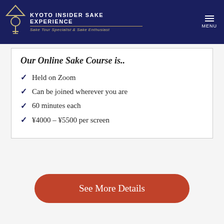KYOTO INSIDER SAKE EXPERIENCE — Sake Tour Specialist & Sake Enthusiast
Our Online Sake Course is..
Held on Zoom
Can be joined wherever you are
60 minutes each
¥4000 – ¥5500 per screen
See More Details